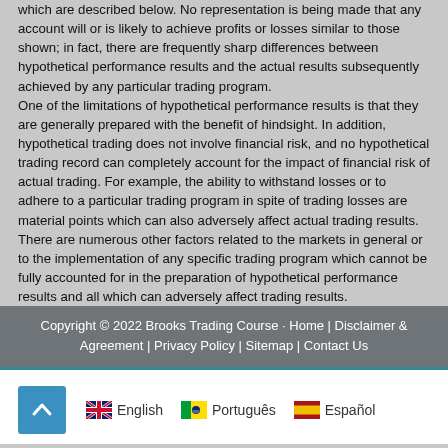which are described below. No representation is being made that any account will or is likely to achieve profits or losses similar to those shown; in fact, there are frequently sharp differences between hypothetical performance results and the actual results subsequently achieved by any particular trading program. One of the limitations of hypothetical performance results is that they are generally prepared with the benefit of hindsight. In addition, hypothetical trading does not involve financial risk, and no hypothetical trading record can completely account for the impact of financial risk of actual trading. For example, the ability to withstand losses or to adhere to a particular trading program in spite of trading losses are material points which can also adversely affect actual trading results. There are numerous other factors related to the markets in general or to the implementation of any specific trading program which cannot be fully accounted for in the preparation of hypothetical performance results and all which can adversely affect trading results.
Copyright © 2022 Brooks Trading Course · Home | Disclaimer & Agreement | Privacy Policy | Sitemap | Contact Us
English  Português  Español